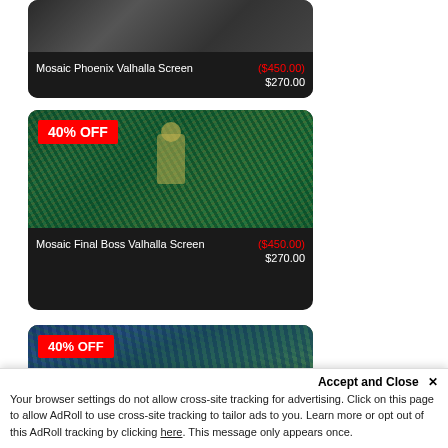[Figure (photo): Product card for Mosaic Phoenix Valhalla Screen showing mosaic artwork panels, with original price ($450.00) struck through and sale price $270.00]
[Figure (photo): Product card for Mosaic Final Boss Valhalla Screen with 40% OFF badge, showing colorful mosaic artwork with a bull/minotaur figure, original price ($450.00) struck through and sale price $270.00]
[Figure (photo): Product card for Mosaic Forest Valhalla Screen with 40% OFF badge, showing forest/nature mosaic artwork panels, partially visible at bottom of page]
Accept and Close ×
Your browser settings do not allow cross-site tracking for advertising. Click on this page to allow AdRoll to use cross-site tracking to tailor ads to you. Learn more or opt out of this AdRoll tracking by clicking here. This message only appears once.